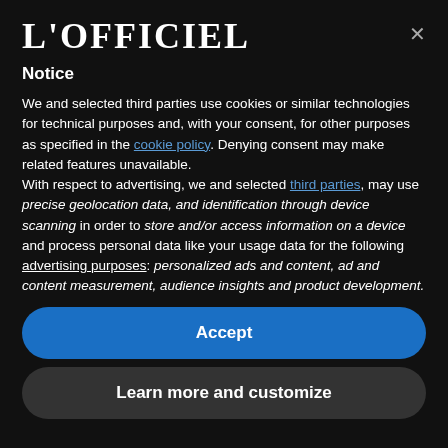[Figure (logo): L'OFFICIEL logo in white serif font on black background]
Notice
We and selected third parties use cookies or similar technologies for technical purposes and, with your consent, for other purposes as specified in the cookie policy. Denying consent may make related features unavailable.
With respect to advertising, we and selected third parties, may use precise geolocation data, and identification through device scanning in order to store and/or access information on a device and process personal data like your usage data for the following advertising purposes: personalized ads and content, ad and content measurement, audience insights and product development.
Accept
Learn more and customize